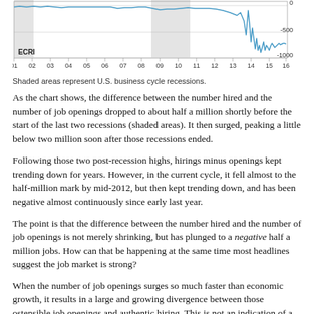[Figure (continuous-plot): Line chart showing hirings minus job openings (in thousands) from 2001 to 2016, with shaded areas representing U.S. business cycle recessions. The line stays near 0 for most of the period, drops sharply to around -500 to -1000 around 2014-2016. ECRI label in lower left.]
Shaded areas represent U.S. business cycle recessions.
As the chart shows, the difference between the number hired and the number of job openings dropped to about half a million shortly before the start of the last two recessions (shaded areas). It then surged, peaking a little below two million soon after those recessions ended.
Following those two post-recession highs, hirings minus openings kept trending down for years. However, in the current cycle, it fell almost to the half-million mark by mid-2012, but then kept trending down, and has been negative almost continuously since early last year.
The point is that the difference between the number hired and the number of job openings is not merely shrinking, but has plunged to a negative half a million jobs. How can that be happening at the same time most headlines suggest the job market is strong?
When the number of job openings surges so much faster than economic growth, it results in a large and growing divergence between those ostensible job openings and authentic hiring. This is not an indication of a truly tight labor market. If it were, wages would be soaring, whereas wage growth has